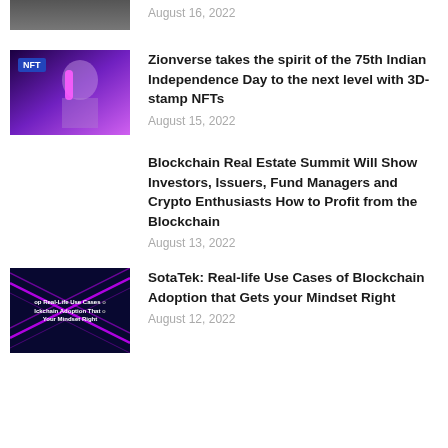[Figure (photo): Partial top image cropped from previous article]
August 16, 2022
[Figure (photo): NFT screen with purple glowing background]
Zionverse takes the spirit of the 75th Indian Independence Day to the next level with 3D-stamp NFTs
August 15, 2022
Blockchain Real Estate Summit Will Show Investors, Issuers, Fund Managers and Crypto Enthusiasts How to Profit from the Blockchain
August 13, 2022
[Figure (photo): SotaTek blockchain article thumbnail with neon lines on dark background]
SotaTek: Real-life Use Cases of Blockchain Adoption that Gets your Mindset Right
August 12, 2022